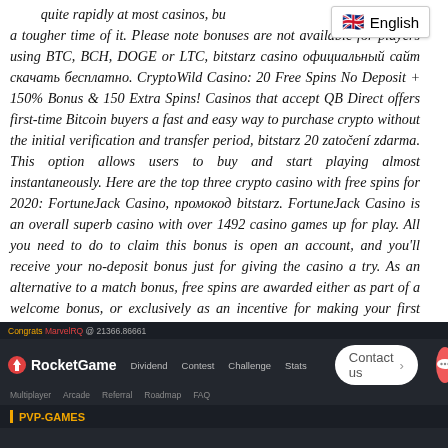quite rapidly at most casinos, but a tougher time of it. Please note bonuses are not available for players using BTC, BCH, DOGE or LTC, bitstarz casino официальный сайт скачать бесплатно. CryptoWild Casino: 20 Free Spins No Deposit + 150% Bonus & 150 Extra Spins! Casinos that accept QB Direct offers first-time Bitcoin buyers a fast and easy way to purchase crypto without the initial verification and transfer period, bitstarz 20 zatočení zdarma. This option allows users to buy and start playing almost instantaneously. Here are the top three crypto casino with free spins for 2020: FortuneJack Casino, промокод bitstarz. FortuneJack Casino is an overall superb casino with over 1492 casino games up for play. All you need to do to claim this bonus is open an account, and you'll receive your no-deposit bonus just for giving the casino a try. As an alternative to a match bonus, free spins are awarded either as part of a welcome bonus, or exclusively as an incentive for making your first deposit, промокод bitstarz.
[Figure (screenshot): Screenshot of RocketGame website with navigation bar showing Dividend, Contest, Challenge, Stats links, a Contact us button, a red chat bubble icon, sub-navigation links, and a PVP-GAMES section header. Top bar shows a congratulations message.]